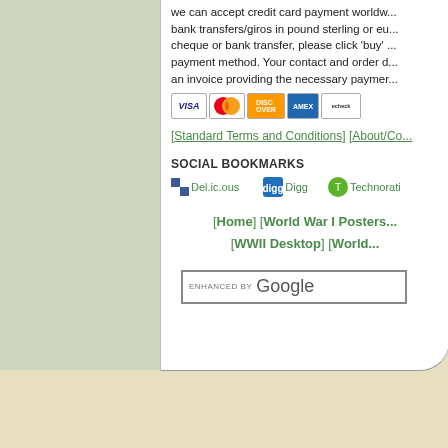we can accept credit card payment worldwide, bank transfers/giros in pound sterling or eu... cheque or bank transfer, please click 'buy' ... payment method. Your contact and order d... an invoice providing the necessary payment...
[Figure (other): Payment icons: Visa, MasterCard, Discover, American Express, echeck]
[Standard Terms and Conditions] [About/Co...]
SOCIAL BOOKMARKS
[Figure (other): Social bookmark icons: Del.ic.ous, Digg, Technorati]
[Home] [World War I Posters...] [WWII Desktop] [World...]
[Figure (other): Google search box with 'ENHANCED BY Google' text]